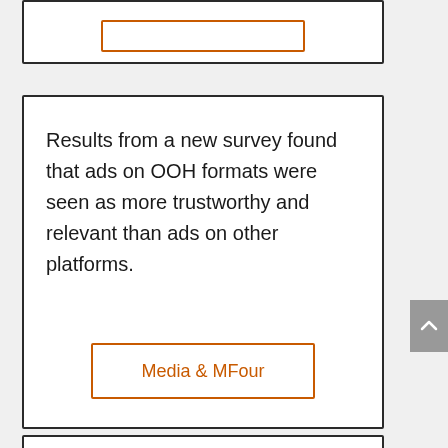[Figure (other): Top card with orange-bordered button, partially visible at top of page]
Results from a new survey found that ads on OOH formats were seen as more trustworthy and relevant than ads on other platforms.
Media & MFour
Advertisers who